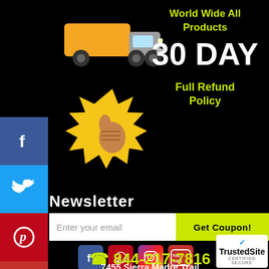[Figure (illustration): Yellow delivery truck icon on black background]
World Wide All Products
30 DAY
Full Refund Policy
[Figure (illustration): Gold seal/badge with thumbs up icon]
[Figure (illustration): Social media icon sidebar: Facebook, Twitter, Pinterest, YouTube, Instagram]
Newsletter
Enter your email
Get Coupon!
[Figure (illustration): Row of social media icons: Facebook, Pinterest, Instagram, YouTube]
Got a Question? Call Us
844-217-7816
7455 Sierra Madre Trail
[Figure (logo): TrustedSite Certified Secure badge]